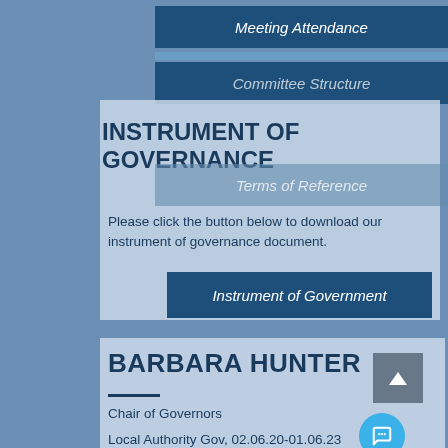Meeting Attendance
Committee Structure
INSTRUMENT OF GOVERNANCE
Terms of Reference
Please click the button below to download our instrument of governance document.
Instrument of Government
BARBARA HUNTER
Chair of Governors
Local Authority Gov, 02.06.20-01.06.23
Chair and PPG Committees: Headteachers Performance Management Panel, Finance